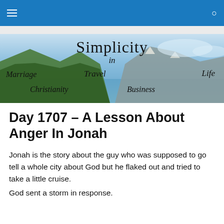Navigation bar with menu and search icons
[Figure (illustration): Hero banner with mountain lake landscape. Text overlay reads: 'Simplicity in Marriage Travel Life Christianity Business']
Day 1707 – A Lesson About Anger In Jonah
Jonah is the story about the guy who was supposed to go tell a whole city about God but he flaked out and tried to take a little cruise.
God sent a storm in response.